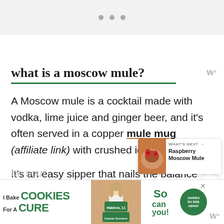[Figure (other): Three horizontal dots navigation indicator on gray background]
what is a moscow mule?
A Moscow mule is a cocktail made with vodka, lime juice and ginger beer, and it’s often served in a copper mule mug (affiliate link) with crushed ice.
It’s an easy sipper that nails the balance
[Figure (other): What's Next promo box with Raspberry Moscow Mule and food image]
[Figure (other): I Bake Cookies For A Cure advertisement banner with Haldora cancer survivor]